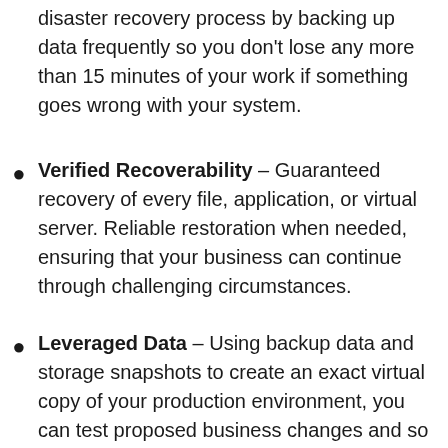disaster recovery process by backing up data frequently so you don't lose any more than 15 minutes of your work if something goes wrong with your system.
Verified Recoverability – Guaranteed recovery of every file, application, or virtual server. Reliable restoration when needed, ensuring that your business can continue through challenging circumstances.
Leveraged Data – Using backup data and storage snapshots to create an exact virtual copy of your production environment, you can test proposed business changes and so on.